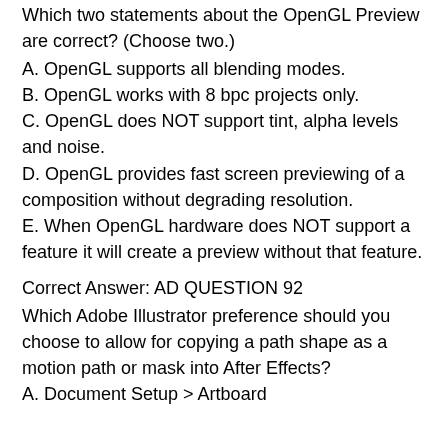Which two statements about the OpenGL Preview are correct? (Choose two.)
A. OpenGL supports all blending modes.
B. OpenGL works with 8 bpc projects only.
C. OpenGL does NOT support tint, alpha levels and noise.
D. OpenGL provides fast screen previewing of a composition without degrading resolution.
E. When OpenGL hardware does NOT support a feature it will create a preview without that feature.
Correct Answer: AD QUESTION 92
Which Adobe Illustrator preference should you choose to allow for copying a path shape as a motion path or mask into After Effects?
A. Document Setup > Artboard